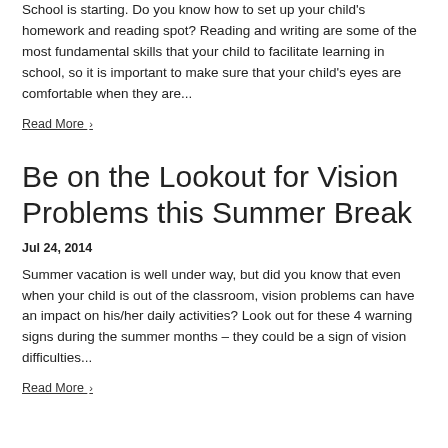School is starting. Do you know how to set up your child's homework and reading spot? Reading and writing are some of the most fundamental skills that your child to facilitate learning in school, so it is important to make sure that your child's eyes are comfortable when they are...
Read More ›
Be on the Lookout for Vision Problems this Summer Break
Jul 24, 2014
Summer vacation is well under way, but did you know that even when your child is out of the classroom, vision problems can have an impact on his/her daily activities? Look out for these 4 warning signs during the summer months – they could be a sign of vision difficulties...
Read More ›